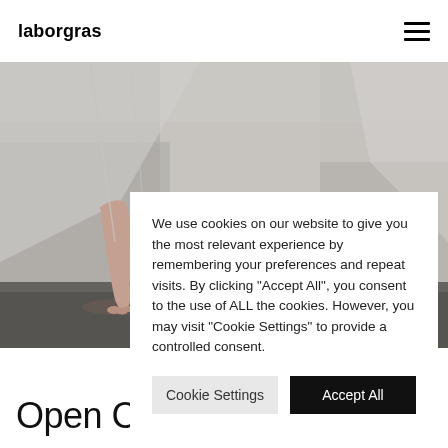laborgras
[Figure (photo): Black and white photo of a dancer's bare foot and lower leg with translucent fabric, against a stone wall background.]
We use cookies on our website to give you the most relevant experience by remembering your preferences and repeat visits. By clicking "Accept All", you consent to the use of ALL the cookies. However, you may visit "Cookie Settings" to provide a controlled consent.
Cookie Settings   Accept All
Open Classes